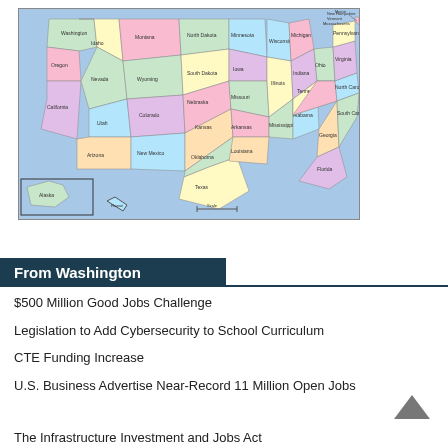[Figure (map): Colorful map of the contiguous United States with Alaska and Hawaii insets. States are labeled with their names and colored in pastel shades (pink, green, yellow, orange, blue, purple). The northeastern states have leader lines to labels on the right side.]
From Washington
$500 Million Good Jobs Challenge
Legislation to Add Cybersecurity to School Curriculum
CTE Funding Increase
U.S. Business Advertise Near-Record 11 Million Open Jobs
The Infrastructure Investment and Jobs Act